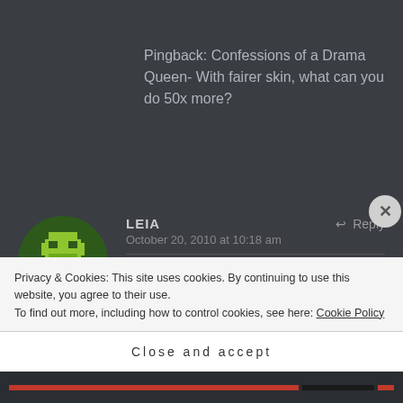Pingback: Confessions of a Drama Queen- With fairer skin, what can you do 50x more?
LEIA says:
October 20, 2010 at 10:18 am
↩ Reply
I would never use a fairness cream! I prefer to be as brown as possible. When
Privacy & Cookies: This site uses cookies. By continuing to use this website, you agree to their use.
To find out more, including how to control cookies, see here: Cookie Policy
Close and accept